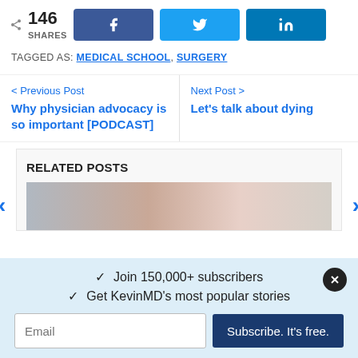146 SHARES (with Facebook, Twitter, LinkedIn share buttons)
TAGGED AS: MEDICAL SCHOOL, SURGERY
< Previous Post
Why physician advocacy is so important [PODCAST]
Next Post >
Let's talk about dying
RELATED POSTS
[Figure (photo): Blurred photo of a person used as thumbnail for a related post]
✓  Join 150,000+ subscribers
✓  Get KevinMD's most popular stories
Email   Subscribe. It's free.